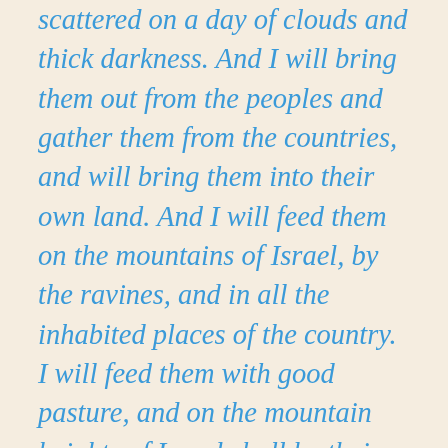scattered on a day of clouds and thick darkness. And I will bring them out from the peoples and gather them from the countries, and will bring them into their own land. And I will feed them on the mountains of Israel, by the ravines, and in all the inhabited places of the country. I will feed them with good pasture, and on the mountain heights of Israel shall be their grazing land. There they shall lie down in good grazing land, and on rich pasture they shall feed on the mountains of Israel. I myself will be the shepherd of my sheep, and I myself will make them lie down, declares the Lord God. I will seek the lost, and I will bring back the stray, and I will bind